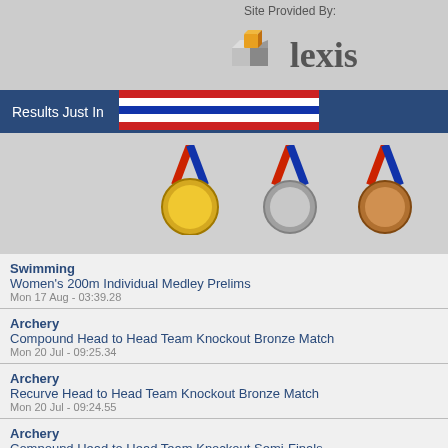Site Provided By:
[Figure (logo): Lexis logo with cube icon]
[Figure (photo): Results Just In banner with gold, silver, bronze medals on ribbons]
Swimming - Women's 200m Individual Medley Prelims - Mon 17 Aug - 03:39.28
Archery - Compound Head to Head Team Knockout Bronze Match - Mon 20 Jul - 09:25.34
Archery - Recurve Head to Head Team Knockout Bronze Match - Mon 20 Jul - 09:24.55
Archery - Compound Head to Head Team Knockout Semi-Finals - Mon 20 Jul - 09:24.17
Archery - Recurve Head to Head Team Knockout Semi-Finals
| Place | Score | Name |
| --- | --- | --- |
| 8th | 0 | Åsa Karl... |
| 9th | 0 | Carol Kni... |
| 10th | 0 | Julie Mac... |
| 11th | 0 | Carita Sö... |
| 12th | 0 | Sharon M... |
| 13th | 0 | Britt Folk... |
| 14th | 0 | Karen Fra... |
| 15th | 0 | Sam Hon... |
| 16th | 0 | Katti Fred... |
| 17th | 0 | Siobhan J... |
| 18th | 0 | Mairi Mac... |
| DNS | 0 | Amanda ... |
| DNF | 0 | Karina Da... |
Last Result: 03/07/2009 14:20:17 Sh...
Schedule for Half Marathon
| Date | Time | Heat | Venue |
| --- | --- | --- | --- |
| Fri 03 Jul | 12:00 | Final | Wiklöf... |
Record/s for Half Marathon